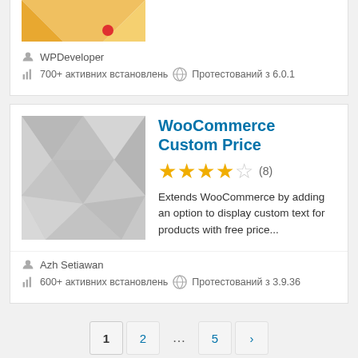[Figure (illustration): Partial view of a plugin card thumbnail (yellow/gold geometric shapes) with a red dot notification indicator]
WPDeveloper
700+ активних встановлень  Протестований з 6.0.1
[Figure (illustration): Gray geometric mosaic placeholder thumbnail for WooCommerce Custom Price plugin]
WooCommerce Custom Price
★★★★☆ (8)
Extends WooCommerce by adding an option to display custom text for products with free price...
Azh Setiawan
600+ активних встановлень  Протестований з 3.9.36
1  2  ...  5  ›